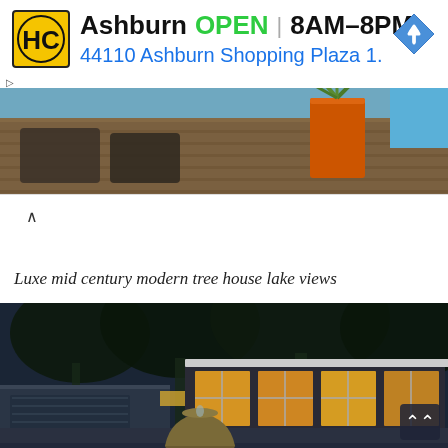[Figure (screenshot): Advertisement banner for HC (hardware/home improvement store) in Ashburn showing OPEN 8AM-8PM and address 44110 Ashburn Shopping Plaza 1. with a navigation arrow icon]
[Figure (photo): Partial photo of an outdoor deck/patio area with wicker furniture, an orange planter with tall grasses, and a blue swimming pool edge visible]
Luxe mid century modern tree house lake views
[Figure (photo): Night/dusk exterior photo of a mid-century modern house with flat roof, large glass windows lit from inside, surrounded by trees, with a large fountain/planter in the foreground driveway]